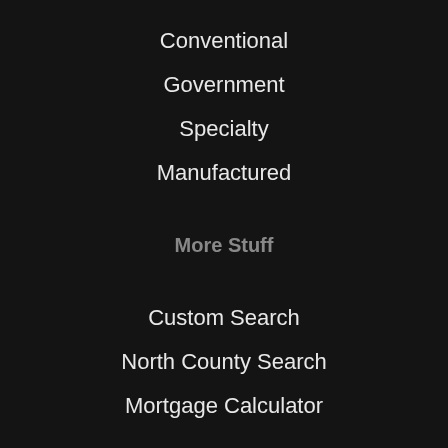Conventional
Government
Specialty
Manufactured
More Stuff
Custom Search
North County Search
Mortgage Calculator